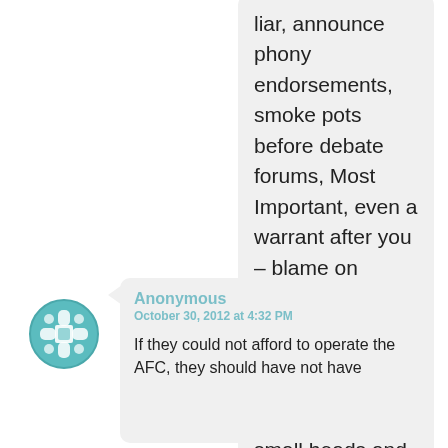liar, announce phony endorsements, smoke pots before debate forums, Most Important, even a warrant after you – blame on mailman. Must do to win is making fun of the Chinese, because their small heads and chests are funny and inferior according to District 4 Candidate Chris Crow
Like
[Figure (illustration): Teal/green decorative avatar icon with geometric cross/flower pattern]
Anonymous
October 30, 2012 at 4:32 PM
If they could not afford to operate the AFC, they should have not have